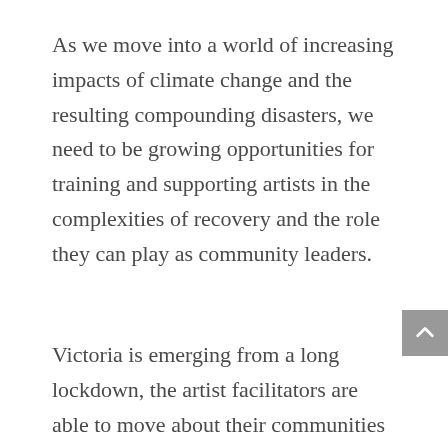As we move into a world of increasing impacts of climate change and the resulting compounding disasters, we need to be growing opportunities for training and supporting artists in the complexities of recovery and the role they can play as community leaders.
Victoria is emerging from a long lockdown, the artist facilitators are able to move about their communities again.